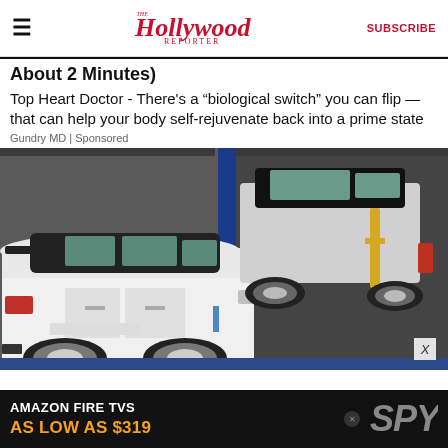The Hollywood Reporter | SUBSCRIBE
About 2 Minutes)
Top Heart Doctor - There’s a “biological switch” you can flip — that can help your body self-rejuvenate back into a prime state
Gundry MD | Sponsored
[Figure (photo): White Range Rover Evoque SUV inside a blue shipping container, with another car loaded on a ramp above in the background]
AMAZON FIRE TVS AS LOW AS $319
[Figure (logo): SPY logo in white italic text on dark background]